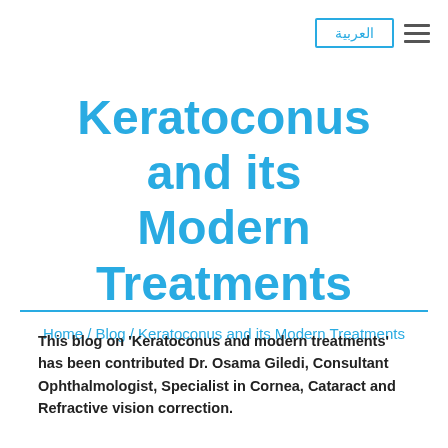العربية ≡
Keratoconus and its Modern Treatments
Home / Blog / Keratoconus and its Modern Treatments
This blog on 'Keratoconus and modern treatments' has been contributed Dr. Osama Giledi, Consultant Ophthalmologist, Specialist in Cornea, Cataract and Refractive vision correction.